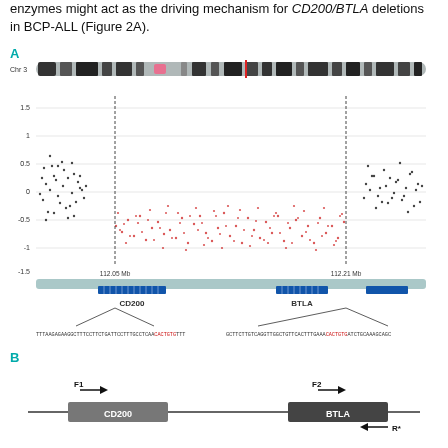enzymes might act as the driving mechanism for CD200/BTLA deletions in BCP-ALL (Figure 2A).
[Figure (other): Panel A: Chromosome 3 ideogram at top with red vertical marker, below it a scatter plot showing SNP array log ratio data with black dots at flanks and red dots in deleted region between 112.05 Mb and 112.21 Mb. Below the plot is a genomic track showing CD200 and BTLA gene positions (blue bars). Lines connect the breakpoints to DNA sequences at bottom showing TTTAAGAGAAGGCTTTCCTTCTGATTCCTTTGCCTCAA followed by CACTGTG in red, then TTT on left side; and GCTTCTTGTCAGGTTGGCTGTTCACTTTGAAA followed by CACTGTG in red then ATCTGCAAAGCAGC on right side.]
[Figure (schematic): Panel B: Schematic diagram of CD200 and BTLA genes on a horizontal line. CD200 gene shown as grey rectangle with F1 arrow pointing right above it. BTLA gene shown as dark grey rectangle with F2 arrow pointing right above it and R* arrow pointing left below-right.]